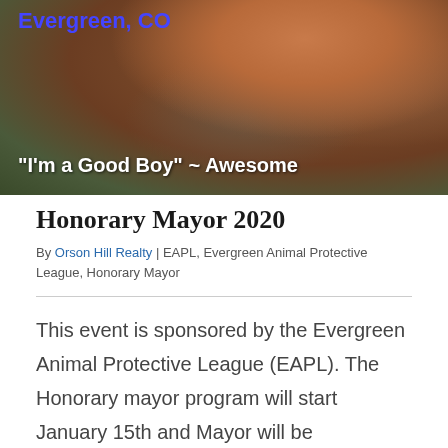[Figure (photo): Hero image of a brown dog close-up with text overlay 'Evergreen, CO' in blue and '"I'm a Good Boy" ~ Awesome' in white]
Honorary Mayor 2020
By Orson Hill Realty | EAPL, Evergreen Animal Protective League, Honorary Mayor
This event is sponsored by the Evergreen Animal Protective League (EAPL). The Honorary mayor program will start January 15th and Mayor will be announced February 21st. All proceeds benefit EAPL to further their